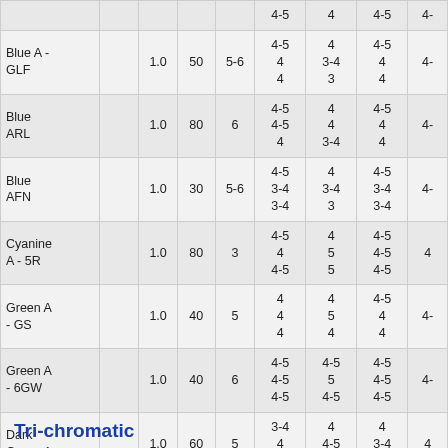|  |  |  |  |  |  |  |  |  |
| --- | --- | --- | --- | --- | --- | --- | --- | --- |
|  |  |  |  | 4-5 | 4 | 4-5 | 4- |
| Blue A - GLF |  | 1.0 | 50 | 5-6 | 4-5
4
4 | 4
3-4
3 | 4-5
4
4 | 4- |
| Blue ARL |  | 1.0 | 80 | 6 | 4-5
4-5
4 | 4
4
3-4 | 4-5
4
4 | 4- |
| Blue AFN |  | 1.0 | 30 | 5-6 | 4-5
3-4
3-4 | 4
3-4
3 | 4-5
3-4
3-4 | 4- |
| Cyanine A - 5R |  | 1.0 | 80 | 3 | 4-5
4
4-5 | 4
5
5 | 4-5
4-5
4-5 | 4 |
| Green A - GS |  | 1.0 | 40 | 5 | 4
4
4 | 4
5
4 | 4-5
4
4 | 4- |
| Green A - 6GW |  | 1.0 | 40 | 6 | 4-5
4-5
4-5 | 4-5
5
4-5 | 4-5
4-5
4-5 | 4- |
| Dark Green A |  | 1.0 | 60 | 5 | 3-4
4
4 | 4
4-5
4-5 | 4
3-4
3-4 | 4 |
Tri-chromatic